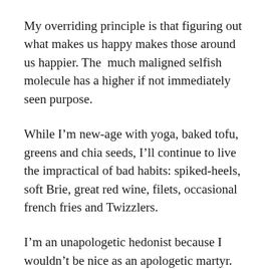My overriding principle is that figuring out what makes us happy makes those around us happier. The much maligned selfish molecule has a higher if not immediately seen purpose.
While I'm new-age with yoga, baked tofu, greens and chia seeds, I'll continue to live the impractical of bad habits: spiked-heels, soft Brie, great red wine, filets, occasional french fries and Twizzlers.
I'm an unapologetic hedonist because I wouldn't be nice as an apologetic martyr. I'm also not dishonest enough to pretend my vanity is fading with aging acceptance. In fact, it's just getting started.